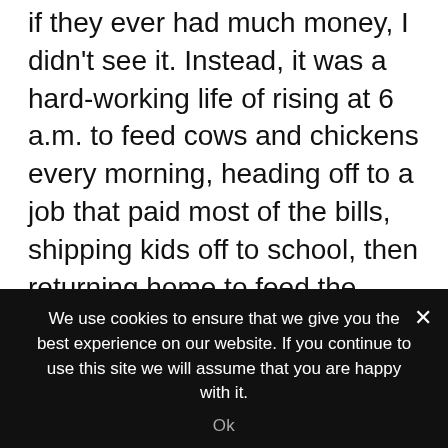if they ever had much money, I didn't see it. Instead, it was a hard-working life of rising at 6 a.m. to feed cows and chickens every morning, heading off to a job that paid most of the bills, shipping kids off to school, then returning home to feed the cows and chickens again, repair broken machinery, and rebuild and repaint and rework farm buildings.
The only complaining I ever heard came from my sisters and me; for their part, other than the occasional stern look or verbal smack-down, they overlooked the negative and
We use cookies to ensure that we give you the best experience on our website. If you continue to use this site we will assume that you are happy with it.
Ok